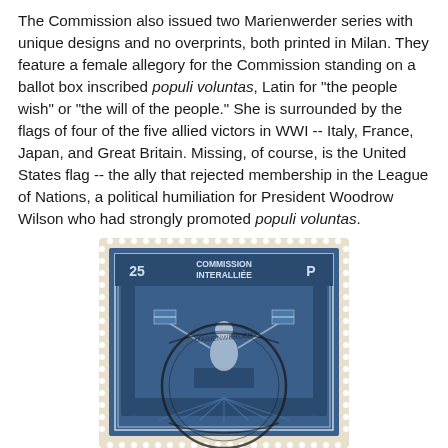The Commission also issued two Marienwerder series with unique designs and no overprints, both printed in Milan. They feature a female allegory for the Commission standing on a ballot box inscribed populi voluntas, Latin for "the people wish" or "the will of the people." She is surrounded by the flags of four of the five allied victors in WWI -- Italy, France, Japan, and Great Britain. Missing, of course, is the United States flag -- the ally that rejected membership in the League of Nations, a political humiliation for President Woodrow Wilson who had strongly promoted populi voluntas.
[Figure (photo): A blue postage stamp reading 'COMMISSION INTERALLIEE' with the value 25 P, featuring a female allegory standing on a ballot box surrounded by flags, with a circular postmark cancellation.]